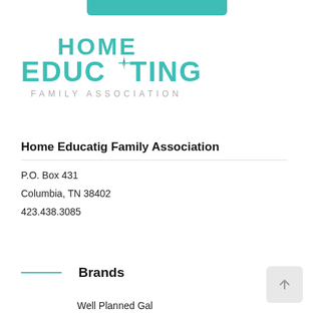[Figure (logo): Home Educating Family Association logo with teal 'HOME EDUCATING' text and compass/star icon, 'FAMILY ASSOCIATION' subtitle in grey]
Home Educatig Family Association
P.O. Box 431
Columbia, TN 38402
423.438.3085
Brands
Well Planned Gal